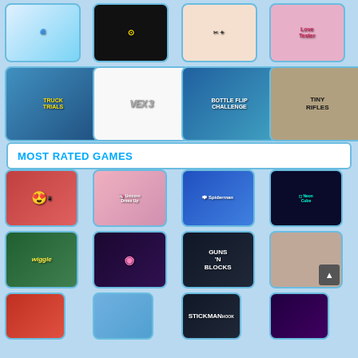[Figure (screenshot): Grid of game thumbnails - top two rows showing spiral game, dark circle game, scissors/star game, Love Tester, Truck Trials, Vex 3, Bottle Flip Challenge, Tiny Rifles]
MOST RATED GAMES
[Figure (screenshot): Grid of game thumbnails - emoji phone game, unicorn dress-up, Spiderman, neon cube, wiggle game, pink ball game, Guns N Blocks, face game, red game, guy game, Stickman, purple game]